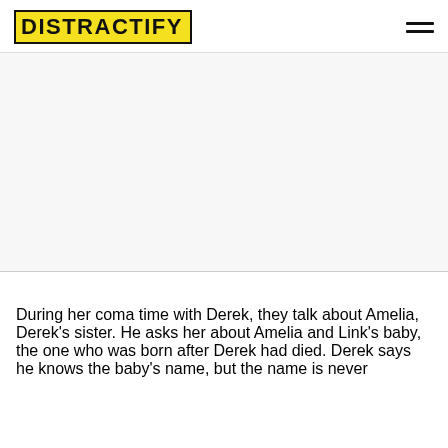DISTRACTIFY
[Figure (other): White/light gray advertisement or blank content zone below the navigation header]
During her coma time with Derek, they talk about Amelia, Derek's sister. He asks her about Amelia and Link's baby, the one who was born after Derek had died. Derek says he knows the baby's name, but the name is never